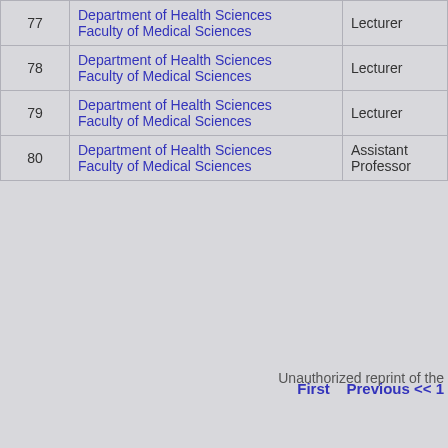| # | Department / Faculty | Role |
| --- | --- | --- |
| 77 | Department of Health Sciences
Faculty of Medical Sciences | Lecturer |
| 78 | Department of Health Sciences
Faculty of Medical Sciences | Lecturer |
| 79 | Department of Health Sciences
Faculty of Medical Sciences | Lecturer |
| 80 | Department of Health Sciences
Faculty of Medical Sciences | Assistant Professor |
First   Previous << 1
Unauthorized reprint of the